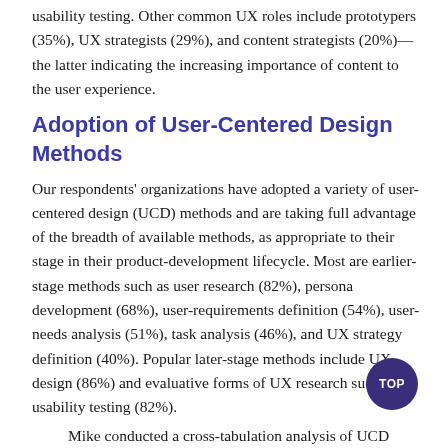usability testing. Other common UX roles include prototypers (35%), UX strategists (29%), and content strategists (20%)—the latter indicating the increasing importance of content to the user experience.
Adoption of User-Centered Design Methods
Our respondents' organizations have adopted a variety of user-centered design (UCD) methods and are taking full advantage of the breadth of available methods, as appropriate to their stage in their product-development lifecycle. Most are earlier-stage methods such as user research (82%), persona development (68%), user-requirements definition (54%), user-needs analysis (51%), task analysis (46%), and UX strategy definition (40%). Popular later-stage methods include UX design (86%) and evaluative forms of UX research such as usability testing (82%).
Mike conducted a cross-tabulation analysis of UCD